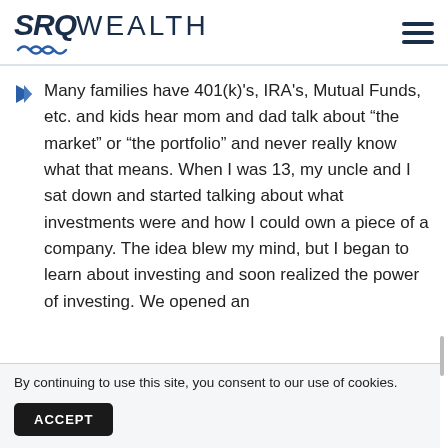SRQ WEALTH
Many families have 401(k)'s, IRA's, Mutual Funds, etc. and kids hear mom and dad talk about “the market” or “the portfolio” and never really know what that means. When I was 13, my uncle and I sat down and started talking about what investments were and how I could own a piece of a company. The idea blew my mind, but I began to learn about investing and soon realized the power of investing. We opened an
By continuing to use this site, you consent to our use of cookies.